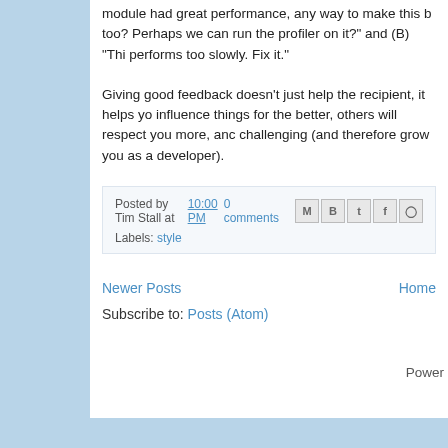module had great performance, any way to make this b too? Perhaps we can run the profiler on it?" and (B) "Thi performs too slowly. Fix it."
Giving good feedback doesn't just help the recipient, it helps yo influence things for the better, others will respect you more, anc challenging (and therefore grow you as a developer).
Posted by Tim Stall at 10:00 PM   0 comments
Labels: style
Newer Posts   Home
Subscribe to: Posts (Atom)
Power